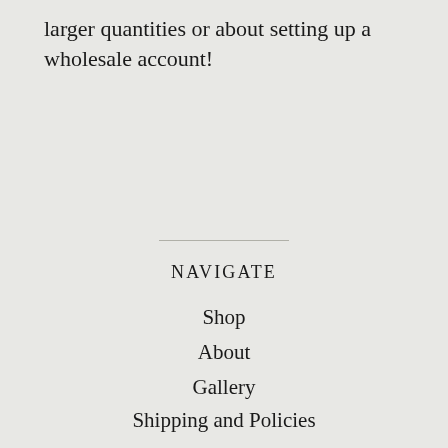larger quantities or about setting up a wholesale account!
NAVIGATE
Shop
About
Gallery
Shipping and Policies
Contact Us